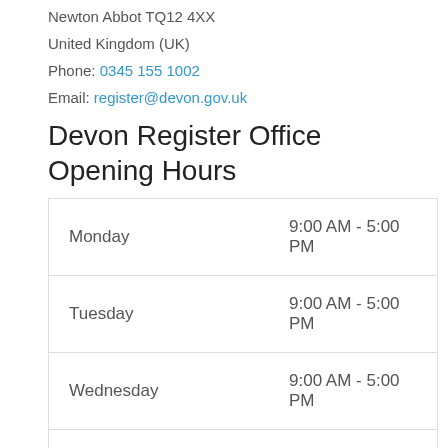Newton Abbot TQ12 4XX
United Kingdom (UK)
Phone: 0345 155 1002
Email: register@devon.gov.uk
Devon Register Office Opening Hours
| Day | Hours |
| --- | --- |
| Monday | 9:00 AM - 5:00 PM |
| Tuesday | 9:00 AM - 5:00 PM |
| Wednesday | 9:00 AM - 5:00 PM |
| Thursday | 9:00 AM - 5:00 PM |
| Friday | 9:00 AM - 5:00 PM |